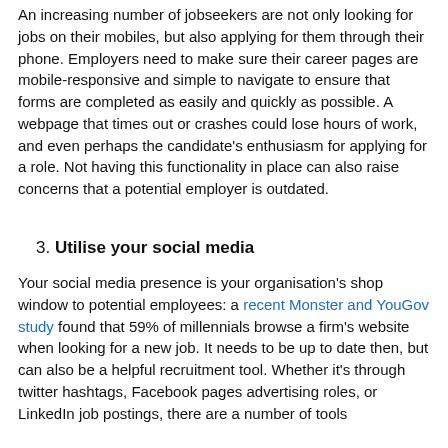An increasing number of jobseekers are not only looking for jobs on their mobiles, but also applying for them through their phone. Employers need to make sure their career pages are mobile-responsive and simple to navigate to ensure that forms are completed as easily and quickly as possible. A webpage that times out or crashes could lose hours of work, and even perhaps the candidate's enthusiasm for applying for a role. Not having this functionality in place can also raise concerns that a potential employer is outdated.
3. Utilise your social media
Your social media presence is your organisation's shop window to potential employees: a recent Monster and YouGov study found that 59% of millennials browse a firm's website when looking for a new job. It needs to be up to date then, but can also be a helpful recruitment tool. Whether it's through twitter hashtags, Facebook pages advertising roles, or LinkedIn job postings, there are a number of tools